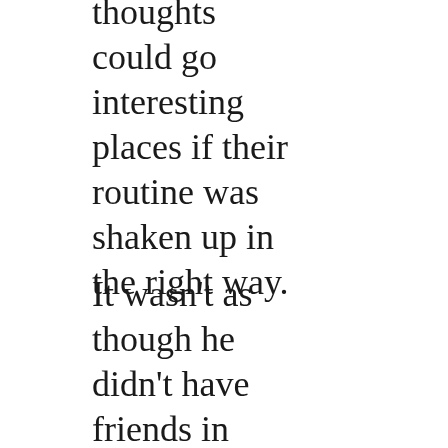thoughts could go interesting places if their routine was shaken up in the right way.
It wasn't as though he didn't have friends in town. Isaiah liked to keep to himself, so not seeing